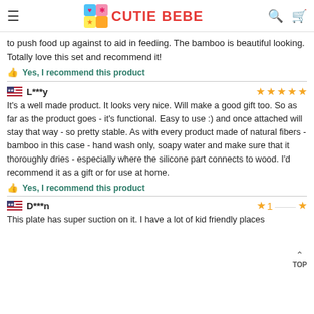CUTIE BEBE
to push food up against to aid in feeding. The bamboo is beautiful looking. Totally love this set and recommend it!
Yes, I recommend this product
L***y — 5 stars
It's a well made product. It looks very nice. Will make a good gift too. So as far as the product goes - it's functional. Easy to use :) and once attached will stay that way - so pretty stable. As with every product made of natural fibers - bamboo in this case - hand wash only, soapy water and make sure that it thoroughly dries - especially where the silicone part connects to wood. I'd recommend it as a gift or for use at home.
Yes, I recommend this product
D***n — 1 star
This plate has super suction on it. I have a lot of kid friendly places